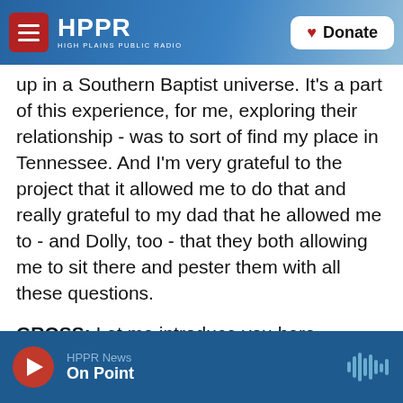HPPR — HIGH PLAINS PUBLIC RADIO | Donate
up in a Southern Baptist universe. It's a part of this experience, for me, exploring their relationship - was to sort of find my place in Tennessee. And I'm very grateful to the project that it allowed me to do that and really grateful to my dad that he allowed me to - and Dolly, too - that they both allowing me to sit there and pester them with all these questions.
GROSS: Let me introduce you here because it's time for another break. If you're just joining us, my guest is Jad Abumrad, the creator of the public radio show and podcast Radiolab. He co-reports
HPPR News — On Point